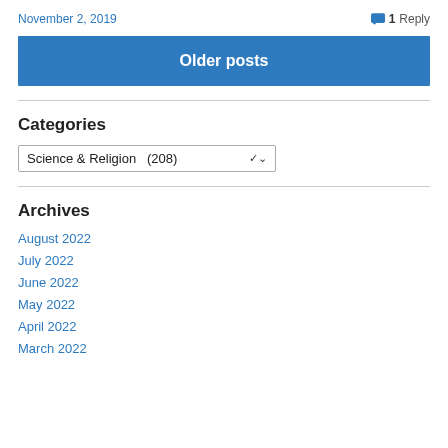November 2, 2019   💬 1 Reply
Older posts
Categories
Science & Religion  (208)
Archives
August 2022
July 2022
June 2022
May 2022
April 2022
March 2022